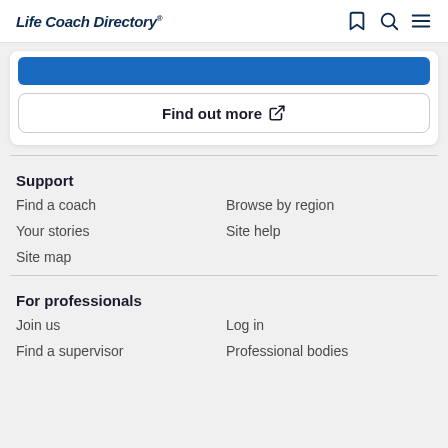Life Coach Directory® [bookmark icon] [search icon] [menu icon]
Find out more
Support
Find a coach
Browse by region
Your stories
Site help
Site map
For professionals
Join us
Log in
Find a supervisor
Professional bodies